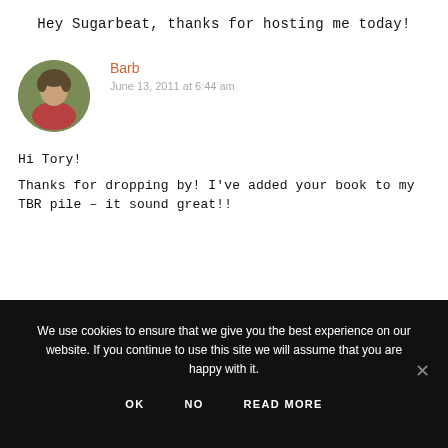Hey Sugarbeat, thanks for hosting me today!
Barb
June 13, 2011 at 6:44 am
Hi Tory!
Thanks for dropping by! I've added your book to my TBR pile – it sound great!!
We use cookies to ensure that we give you the best experience on our website. If you continue to use this site we will assume that you are happy with it.
OK   NO   READ MORE